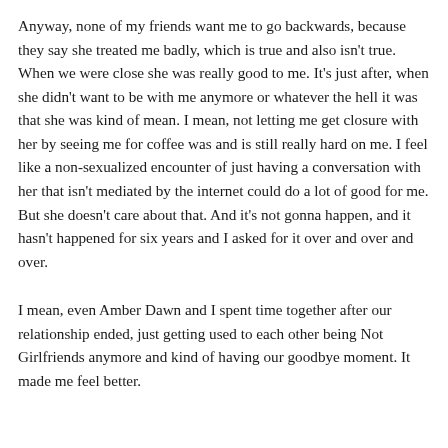Anyway, none of my friends want me to go backwards, because they say she treated me badly, which is true and also isn't true.  When we were close she was really good to me.  It's just after, when she didn't want to be with me anymore or whatever the hell it was that she was kind of mean.  I mean, not letting me get closure with her by seeing me for coffee was and is still really hard on me.  I feel like a non-sexualized encounter of just having a conversation with her that isn't mediated by the internet could do a lot of good for me.  But she doesn't care about that.  And it's not gonna happen, and it hasn't happened for six years and I asked for it over and over and over.
I mean, even Amber Dawn and I spent time together after our relationship ended, just getting used to each other being Not Girlfriends anymore and kind of having our goodbye moment.  It made me feel better.